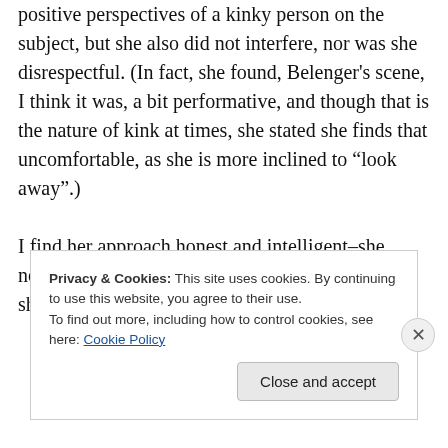positive perspectives of a kinky person on the subject, but she also did not interfere, nor was she disrespectful. (In fact, she found, Belenger's scene, I think it was, a bit performative, and though that is the nature of kink at times, she stated she finds that uncomfortable, as she is more inclined to “look away”.)

I find her approach honest and intelligent–she notes when she is moved by something and when she is not, rather than get sucked into
Privacy & Cookies: This site uses cookies. By continuing to use this website, you agree to their use.
To find out more, including how to control cookies, see here: Cookie Policy